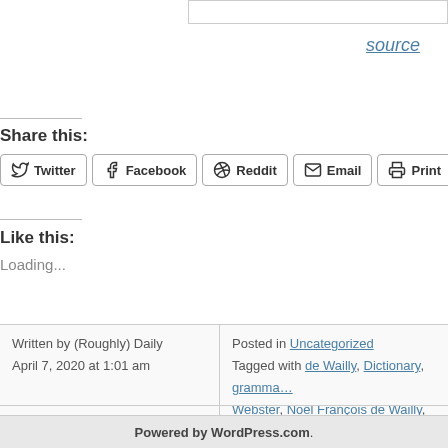source
Share this:
Twitter
Facebook
Reddit
Email
Print
Like this:
Loading...
Written by (Roughly) Daily
April 7, 2020 at 1:01 am
Posted in Uncategorized
Tagged with de Wailly, Dictionary, gramma… Webster, Noël François de Wailly, vocabula…
« Older Entries
Powered by WordPress.com.